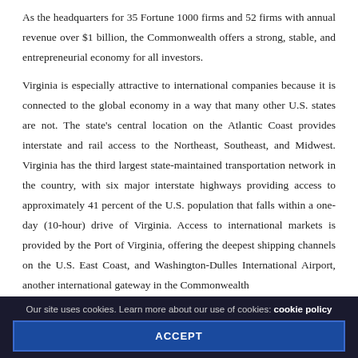As the headquarters for 35 Fortune 1000 firms and 52 firms with annual revenue over $1 billion, the Commonwealth offers a strong, stable, and entrepreneurial economy for all investors.
Virginia is especially attractive to international companies because it is connected to the global economy in a way that many other U.S. states are not. The state's central location on the Atlantic Coast provides interstate and rail access to the Northeast, Southeast, and Midwest. Virginia has the third largest state-maintained transportation network in the country, with six major interstate highways providing access to approximately 41 percent of the U.S. population that falls within a one-day (10-hour) drive of Virginia. Access to international markets is provided by the Port of Virginia, offering the deepest shipping channels on the U.S. East Coast, and Washington-Dulles International Airport, another international gateway in the Commonwealth
Our site uses cookies. Learn more about our use of cookies: cookie policy
ACCEPT